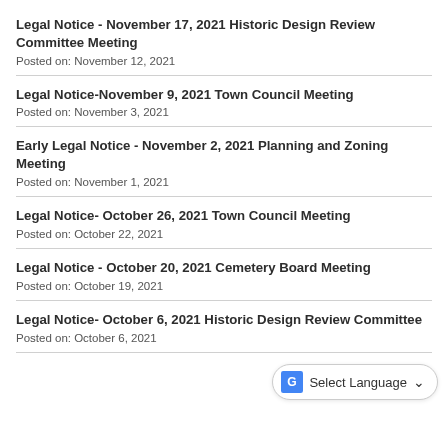Legal Notice - November 17, 2021 Historic Design Review Committee Meeting
Posted on: November 12, 2021
Legal Notice-November 9, 2021 Town Council Meeting
Posted on: November 3, 2021
Early Legal Notice - November 2, 2021 Planning and Zoning Meeting
Posted on: November 1, 2021
Legal Notice- October 26, 2021 Town Council Meeting
Posted on: October 22, 2021
Legal Notice - October 20, 2021 Cemetery Board Meeting
Posted on: October 19, 2021
Legal Notice- October 6, 2021 Historic Design Review Committee
Posted on: October 6, 2021